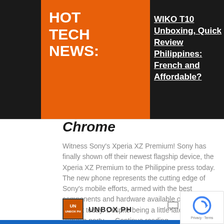HOT TECH NEWS:
WIKO T10 Unboxing, Quick Review Philippines: French and Affordable?
Chrome
Witness Sony's Xperia XZ Premium! Sony has finally shown off their newest flagship device, the Xperia XZ Premium to the Philippine press today. The new phone represents the cutting edge of Sony's mobile efforts, armed with the best components and hardware available on the market today. Despite being a little late to the flagship party … Continue reading
UNBOX PH   1